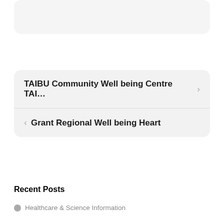[Figure (screenshot): Top partial card element, grey rounded rectangle, cropped at top]
TAIBU Community Well being Centre TAI...
Grant Regional Well being Heart
To search type and hit enter
Recent Posts
Healthcare & Science Information